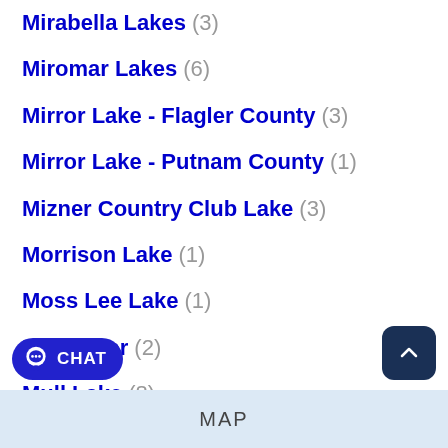Mirabella Lakes (3)
Miromar Lakes (6)
Mirror Lake - Flagler County (3)
Mirror Lake - Putnam County (1)
Mizner Country Club Lake (3)
Morrison Lake (1)
Moss Lee Lake (1)
Mud River (2)
Mull Lake (8)
Murray Bayou (6)
MAP